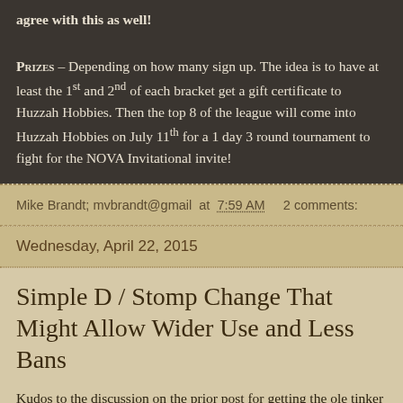agree with this as well!
PRIZES – Depending on how many sign up. The idea is to have at least the 1st and 2nd of each bracket get a gift certificate to Huzzah Hobbies. Then the top 8 of the league will come into Huzzah Hobbies on July 11th for a 1 day 3 round tournament to fight for the NOVA Invitational invite!
Mike Brandt; mvbrandt@gmail at 7:59 AM    2 comments:
Wednesday, April 22, 2015
Simple D / Stomp Change That Might Allow Wider Use and Less Bans
Kudos to the discussion on the prior post for getting the ole tinker going ...
The what if here could* (definitely not saying WOULD) lead to broader allowance of SH/Gargs, Knights, etc. This addresses big issues for negative reaction from players...